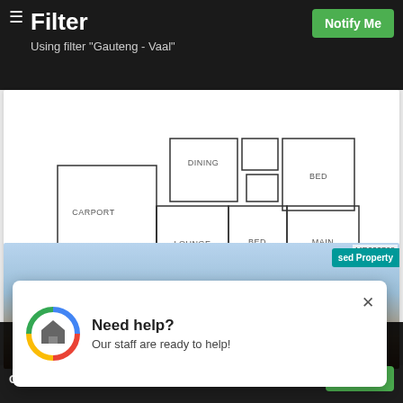Filter
Using filter "Gauteng - Vaal"
[Figure (engineering-diagram): House floor plan showing rooms: CARPORT, DINING, BED (top right), LOUNGE, ROOM, BED (center), MAIN, PATIO]
MR333768
[Figure (photo): Exterior photo of a house with brown roof under blue sky]
Used Property
[Figure (infographic): Popup dialog with Google-colored house icon. Title: Need help? Subtitle: Our staff are ready to help! with close X button]
We use cookies to provide you with the best experience on our website. By continuing to use our
Get notified of new listings!